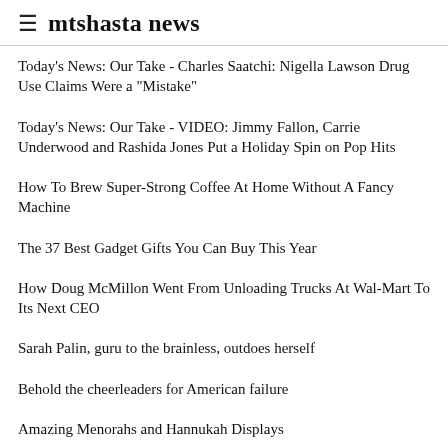≡ mtshasta news
Today's News: Our Take - Charles Saatchi: Nigella Lawson Drug Use Claims Were a "Mistake"
Today's News: Our Take - VIDEO: Jimmy Fallon, Carrie Underwood and Rashida Jones Put a Holiday Spin on Pop Hits
How To Brew Super-Strong Coffee At Home Without A Fancy Machine
The 37 Best Gadget Gifts You Can Buy This Year
How Doug McMillon Went From Unloading Trucks At Wal-Mart To Its Next CEO
Sarah Palin, guru to the brainless, outdoes herself
Behold the cheerleaders for American failure
Amazing Menorahs and Hannukah Displays
British Actress Jean Kent Dies at 92